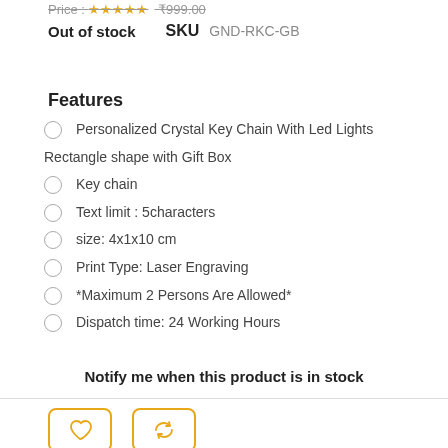Out of stock
SKU   GND-RKC-GB
Features
Personalized Crystal Key Chain With Led Lights
Rectangle shape with Gift Box
Key chain
Text limit : 5characters
size: 4x1x10 cm
Print Type: Laser Engraving
*Maximum 2 Persons Are Allowed*
Dispatch time: 24 Working Hours
Notify me when this product is in stock